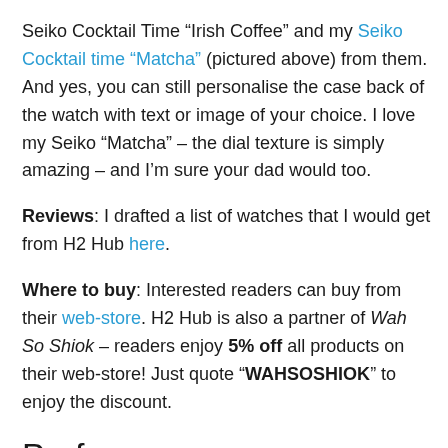Seiko Cocktail Time “Irish Coffee” and my Seiko Cocktail time “Matcha” (pictured above) from them. And yes, you can still personalise the case back of the watch with text or image of your choice. I love my Seiko “Matcha” – the dial texture is simply amazing – and I’m sure your dad would too.
Reviews: I drafted a list of watches that I would get from H2 Hub here.
Where to buy: Interested readers can buy from their web-store. H2 Hub is also a partner of Wah So Shiok – readers enjoy 5% off all products on their web-store! Just quote “WAHSOSHIOK” to enjoy the discount.
Perfume:
a) Maison&O